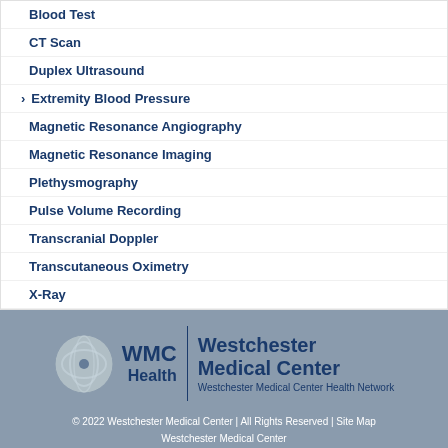Blood Test
CT Scan
Duplex Ultrasound
Extremity Blood Pressure
Magnetic Resonance Angiography
Magnetic Resonance Imaging
Plethysmography
Pulse Volume Recording
Transcranial Doppler
Transcutaneous Oximetry
X-Ray
[Figure (logo): WMC Health | Westchester Medical Center logo with Westchester Medical Center Health Network tagline]
© 2022 Westchester Medical Center | All Rights Reserved | Site Map
Westchester Medical Center
100 Woods Road
Valhalla, NY 10595
914.493.7000 (Hospital Operator)